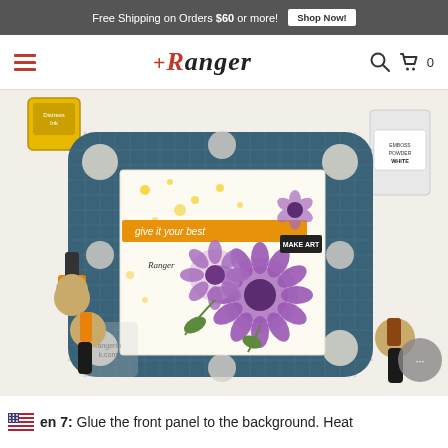Free Shipping on Orders $60 or more! Shop Now!
Ranger (logo navigation bar with hamburger menu, search, and cart)
[Figure (photo): Ranger Ink product photography showing a Make Art Stay-tion craft board with stamped purple flowers, the text 'give it your best' and 'MAKE ART', surrounded by Distress Ink pads, blending tools, and embossing powder on a white surface. Rangerink.com watermark visible.]
ep 7: Glue the front panel to the background. Heat